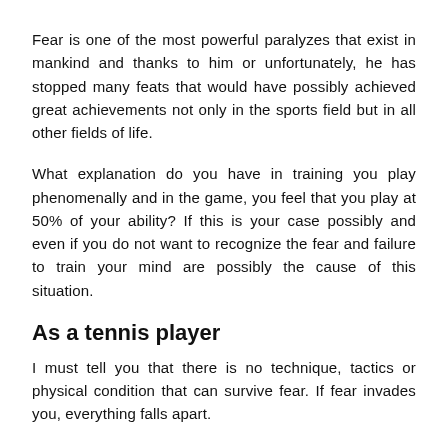Fear is one of the most powerful paralyzes that exist in mankind and thanks to him or unfortunately, he has stopped many feats that would have possibly achieved great achievements not only in the sports field but in all other fields of life.
What explanation do you have in training you play phenomenally and in the game, you feel that you play at 50% of your ability? If this is your case possibly and even if you do not want to recognize the fear and failure to train your mind are possibly the cause of this situation.
As a tennis player
I must tell you that there is no technique, tactics or physical condition that can survive fear. If fear invades you, everything falls apart.